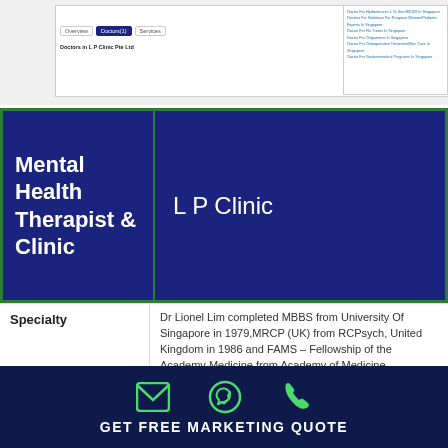[Figure (screenshot): Web page screenshot showing a clinic listing with tabs: Overview, Doctors(1), Services. Doctors in L P Clinic Pte Ltd label visible. Right sidebar shows related links. Call Now button visible.]
Mental Health Therapist & Clinic
L P Clinic
Dr Lionel Lim completed MBBS from University Of Singapore in 1979, MRCP (UK) from RCPsych, United Kingdom in 1986 and FAMS – Fellowship of the Academy Medicine from Academy of Medicine, Singapore in 1990. He treats Anger Management, Stress Management, Antisocial Behaviour...
Specialty
GET FREE MARKETING QUOTE